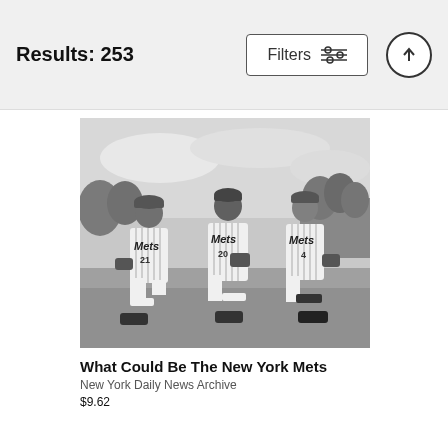Results: 253
[Figure (photo): Black and white photograph of three New York Mets baseball players in pinstripe uniforms kneeling on a field. Player #21 on left, #20 in center, and #4 on right, each holding a baseball glove. Likely a spring training or promotional photo.]
What Could Be The New York Mets
New York Daily News Archive
$9.62